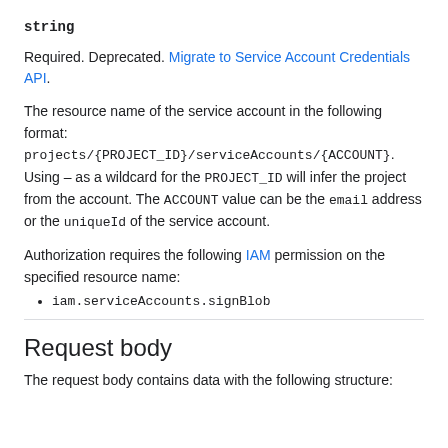string
Required. Deprecated. Migrate to Service Account Credentials API.
The resource name of the service account in the following format: projects/{PROJECT_ID}/serviceAccounts/{ACCOUNT}. Using – as a wildcard for the PROJECT_ID will infer the project from the account. The ACCOUNT value can be the email address or the uniqueId of the service account.
Authorization requires the following IAM permission on the specified resource name:
iam.serviceAccounts.signBlob
Request body
The request body contains data with the following structure: